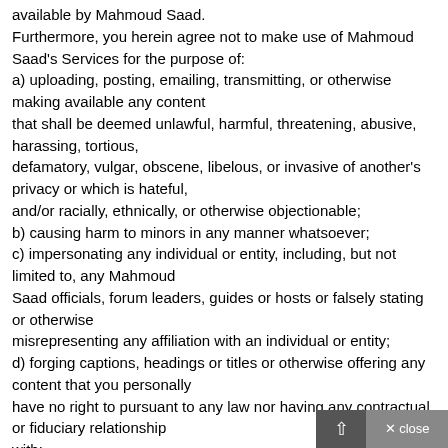available by Mahmoud Saad. Furthermore, you herein agree not to make use of Mahmoud Saad's Services for the purpose of: a) uploading, posting, emailing, transmitting, or otherwise making available any content that shall be deemed unlawful, harmful, threatening, abusive, harassing, tortious, defamatory, vulgar, obscene, libelous, or invasive of another's privacy or which is hateful, and/or racially, ethnically, or otherwise objectionable; b) causing harm to minors in any manner whatsoever; c) impersonating any individual or entity, including, but not limited to, any Mahmoud Saad officials, forum leaders, guides or hosts or falsely stating or otherwise misrepresenting any affiliation with an individual or entity; d) forging captions, headings or titles or otherwise offering any content that you personally have no right to pursuant to any law nor having any contractual or fiduciary relationship with; e) uploading, posting, emailing, transmitting or otherwise offering any such content that